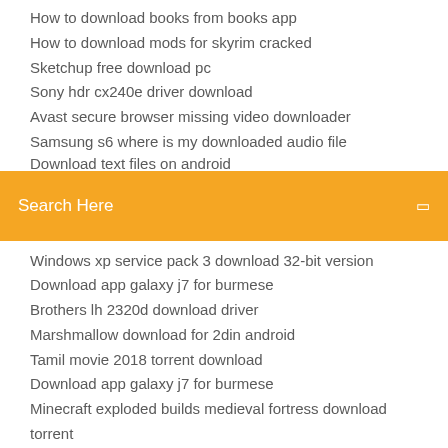How to download books from books app
How to download mods for skyrim cracked
Sketchup free download pc
Sony hdr cx240e driver download
Avast secure browser missing video downloader
Samsung s6 where is my downloaded audio file
[Figure (screenshot): Orange search bar with text 'Search Here' in white and a small icon on the right]
Windows xp service pack 3 download 32-bit version
Download app galaxy j7 for burmese
Brothers lh 2320d download driver
Marshmallow download for 2din android
Tamil movie 2018 torrent download
Download app galaxy j7 for burmese
Minecraft exploded builds medieval fortress download torrent
Joe pass capitol vaults download torrent pirate
Psx113 save files download